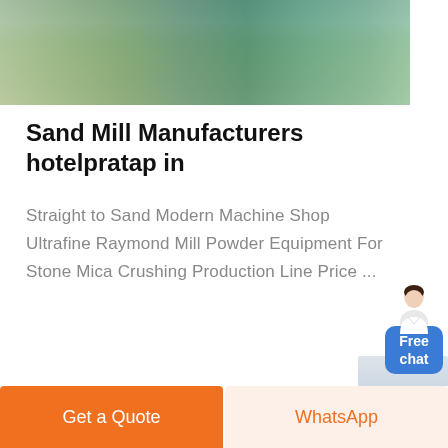[Figure (photo): Aerial view of an industrial facility or factory complex with buildings, roads, and green areas visible from above.]
Sand Mill Manufacturers hotelpratap in
Straight to Sand Modern Machine Shop Ultrafine Raymond Mill Powder Equipment For Stone Mica Crushing Production Line Price ...
[Figure (infographic): Free chat widget showing a customer service avatar and a blue rounded button labeled 'Free chat']
Get a Quote   WhatsApp